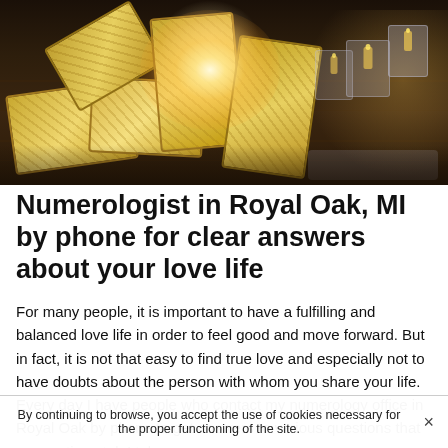[Figure (photo): Tarot cards spread on a wooden table with a bright glowing light in the center and candles in glass holders on the right side]
Numerologist in Royal Oak, MI by phone for clear answers about your love life
For many people, it is important to have a fulfilling and balanced love life in order to feel good and move forward. But in fact, it is not that easy to find true love and especially not to have doubts about the person with whom you share your life. Every day I have people who contact my numerology office in Royal Oak by phone to get answers to various questions that are sentimental. I take
By continuing to browse, you accept the use of cookies necessary for the proper functioning of the site.